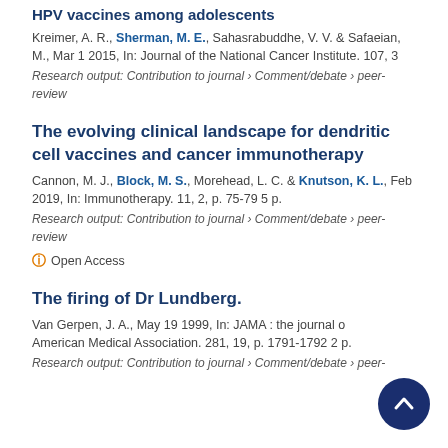HPV vaccines among adolescents
Kreimer, A. R., Sherman, M. E., Sahasrabuddhe, V. V. & Safaeian, M., Mar 1 2015, In: Journal of the National Cancer Institute. 107, 3
Research output: Contribution to journal › Comment/debate › peer-review
The evolving clinical landscape for dendritic cell vaccines and cancer immunotherapy
Cannon, M. J., Block, M. S., Morehead, L. C. & Knutson, K. L., Feb 2019, In: Immunotherapy. 11, 2, p. 75-79 5 p.
Research output: Contribution to journal › Comment/debate › peer-review
Open Access
The firing of Dr Lundberg.
Van Gerpen, J. A., May 19 1999, In: JAMA : the journal of the American Medical Association. 281, 19, p. 1791-1792 2 p.
Research output: Contribution to journal › Comment/debate › peer-